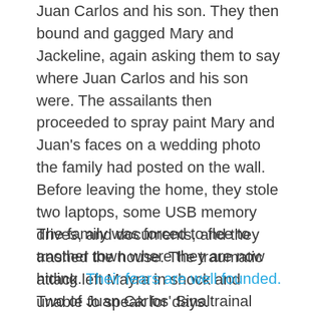Juan Carlos and his son. They then bound and gagged Mary and Jackeline, again asking them to say where Juan Carlos and his son were. The assailants then proceeded to spray paint Mary and Juan's faces on a wedding photo the family had posted on the wall. Before leaving the home, they stole two laptops, some USB memory drives, and documents, and they trashed the house. The traumatic attack left Mayra in shock and unable to speak for days.
The family was forced to flee to another town where they are now hiding. Their fears are well founded. Two of Juan Carlos' Sinaltrainal colleagues, John Fredy Carmona Bermudez and Luis Medardo Prens Vallejo, were killed in recent months.
All in all, 38 persons were killed in Colombia in...